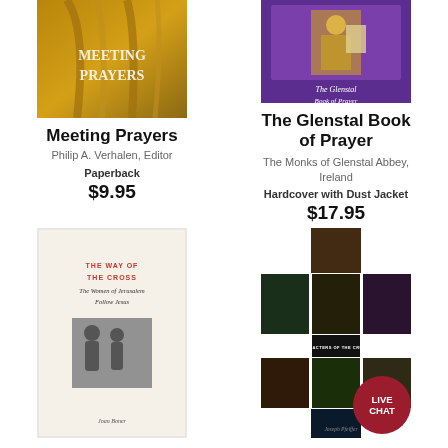[Figure (photo): Book cover for Meeting Prayers - golden/amber tones showing robed figure]
Meeting Prayers
Philip A. Verhalen, Editor
Paperback
$9.95
[Figure (photo): Book cover for The Glenstal Book of Prayer - purple background with religious icon]
The Glenstal Book of Prayer
The Monks of Glenstal Abbey, Ireland
Hardcover with Dust Jacket
$17.95
[Figure (photo): Book cover for The Way of the Cross: The Women of Jerusalem Follow Jesus - cream/beige with red and black text and small photo]
[Figure (photo): Book cover for The Characters of the Crucifixion - grid of dark religious artwork images]